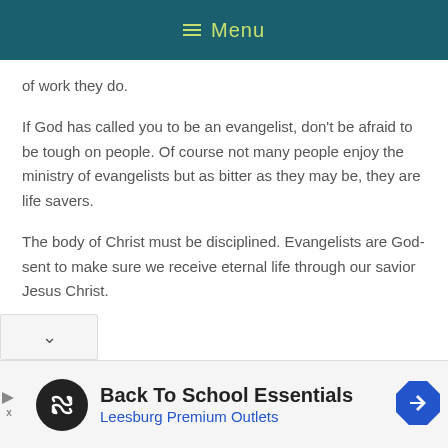Menu
of work they do.
If God has called you to be an evangelist, don’t be afraid to be tough on people. Of course not many people enjoy the ministry of evangelists but as bitter as they may be, they are life savers.
The body of Christ must be disciplined. Evangelists are God-sent to make sure we receive eternal life through our savior Jesus Christ.
[Figure (infographic): Advertisement banner: Back To School Essentials, Leesburg Premium Outlets, with logo and directional arrow icon]